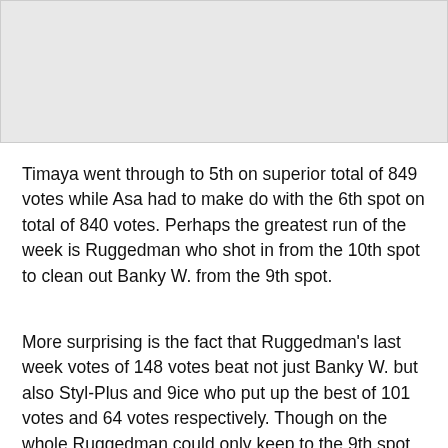[Figure (other): Gray placeholder image region at top of page]
Timaya went through to 5th on superior total of 849 votes while Asa had to make do with the 6th spot on total of 840 votes. Perhaps the greatest run of the week is Ruggedman who shot in from the 10th spot to clean out Banky W. from the 9th spot.
More surprising is the fact that Ruggedman's last week votes of 148 votes beat not just Banky W. but also Styl-Plus and 9ice who put up the best of 101 votes and 64 votes respectively. Though on the whole Ruggedman could only keep to the 9th spot